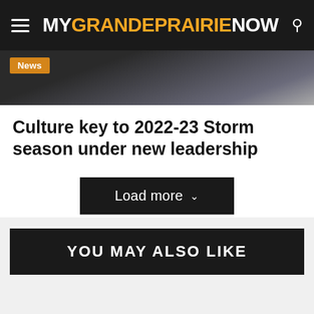MY GRANDE PRAIRIE NOW
[Figure (photo): Partial photo of a person in dark clothing, with a News badge overlay in the lower left]
Culture key to 2022-23 Storm season under new leadership
Load more
YOU MAY ALSO LIKE